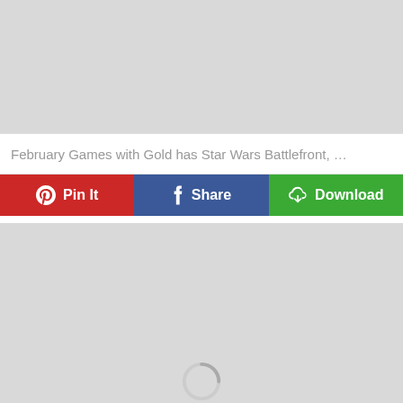[Figure (other): Gray placeholder image area at top of page]
February Games with Gold has Star Wars Battlefront, …
[Figure (infographic): Social sharing button bar with Pinterest Pin It (red), Facebook Share (blue), and Download (green) buttons]
[Figure (other): Gray placeholder image area at bottom of page with a loading spinner icon at the bottom center]